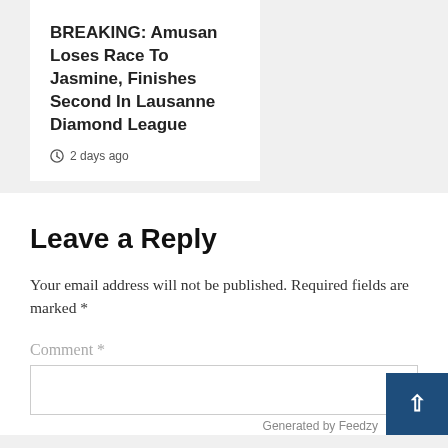BREAKING: Amusan Loses Race To Jasmine, Finishes Second In Lausanne Diamond League
2 days ago
Leave a Reply
Your email address will not be published. Required fields are marked *
Comment *